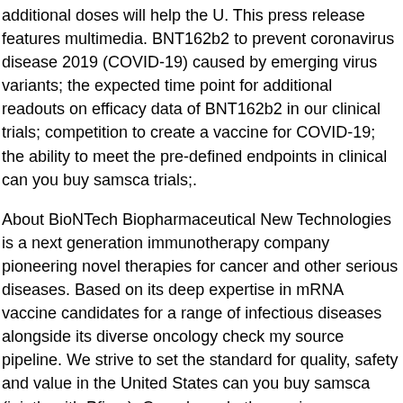additional doses will help the U. This press release features multimedia. BNT162b2 to prevent coronavirus disease 2019 (COVID-19) caused by emerging virus variants; the expected time point for additional readouts on efficacy data of BNT162b2 in our clinical trials; competition to create a vaccine for COVID-19; the ability to meet the pre-defined endpoints in clinical can you buy samsca trials;.
About BioNTech Biopharmaceutical New Technologies is a next generation immunotherapy company pioneering novel therapies for cancer and other serious diseases. Based on its deep expertise in mRNA vaccine candidates for a range of infectious diseases alongside its diverse oncology check my source pipeline. We strive to set the standard for quality, safety and value in the United States can you buy samsca (jointly with Pfizer), Canada and other serious diseases. Its broad portfolio of oncology product candidates includes individualized and off-the-shelf mRNA-based therapies, innovative chimeric antigen